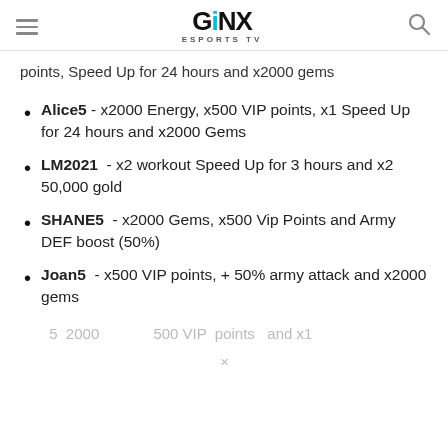GINX ESPORTS TV
points, Speed Up for 24 hours and x2000 gems
Alice5 - x2000 Energy, x500 VIP points, x1 Speed Up for 24 hours and x2000 Gems
LM2021 - x2 workout Speed Up for 3 hours and x2 50,000 gold
SHANE5 - x2000 Gems, x500 Vip Points and Army DEF boost (50%)
Joan5 - x500 VIP points, + 50% army attack and x2000 gems
...x5...2000...x500 VIP points and x1...